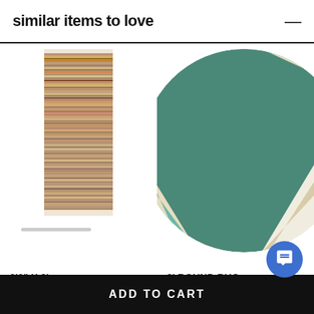similar items to love
[Figure (photo): A tall narrow striped runner rug with multicolor horizontal stripes in brown, tan, orange, red, pink, and grey tones, with fringe at the top and bottom edges.]
2'6" X 8'
SKU: MIG5007-268
[Figure (photo): A round 8-foot rug with abstract diagonal stripe pattern in teal, dark green, light teal, and cream/beige tones, partially cropped.]
8' ROUND RUG
SKU: FM7...
ADD TO CART